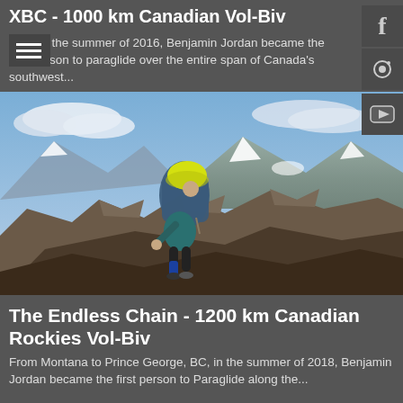XBC - 1000 km Canadian Vol-Biv
During the summer of 2016, Benjamin Jordan became the first person to paraglide over the entire span of Canada's southwest...
[Figure (photo): A climber with a large backpack and bright yellow helmet scrambling up rocky mountain terrain, with snow-capped mountain peaks and blue sky with clouds in the background.]
The Endless Chain - 1200 km Canadian Rockies Vol-Biv
From Montana to Prince George, BC, in the summer of 2018, Benjamin Jordan became the first person to Paraglide along the...